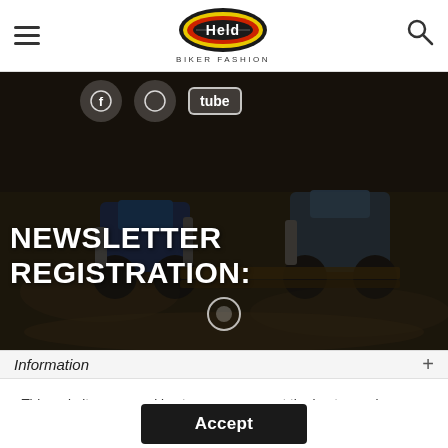Held Biker Fashion — navigation bar with hamburger menu, logo, search icon
[Figure (photo): Dark hero image showing motorcycles/dirt bikes on a muddy off-road track with social media icons at top and newsletter registration text overlay]
NEWSLETTER REGISTRATION:
Information
This website uses cookies to ensure you get the best experience on our website. More information
Accept